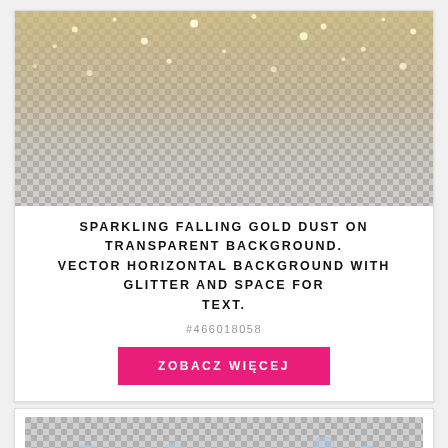[Figure (illustration): Sparkling falling gold dust / glitter on transparent checkerboard background]
SPARKLING FALLING GOLD DUST ON TRANSPARENT BACKGROUND. VECTOR HORIZONTAL BACKGROUND WITH GLITTER AND SPACE FOR TEXT.
#466018058
ZOBACZ WIĘCEJ
[Figure (illustration): Water droplets on transparent checkerboard background]